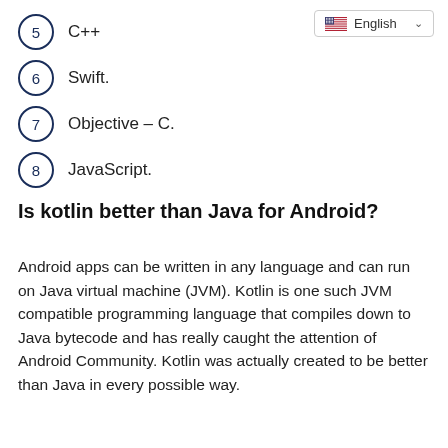5  C++
6  Swift.
7  Objective – C.
8  JavaScript.
Is kotlin better than Java for Android?
Android apps can be written in any language and can run on Java virtual machine (JVM). Kotlin is one such JVM compatible programming language that compiles down to Java bytecode and has really caught the attention of Android Community. Kotlin was actually created to be better than Java in every possible way.